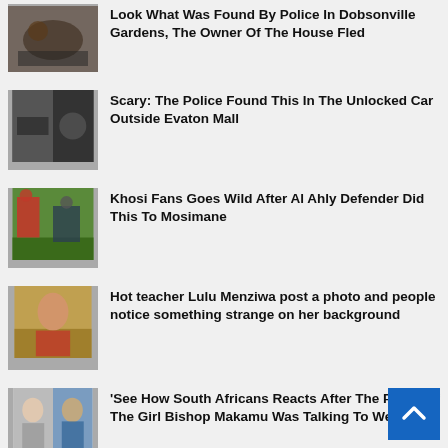Look What Was Found By Police In Dobsonville Gardens, The Owner Of The House Fled
Scary: The Police Found This In The Unlocked Car Outside Evaton Mall
Khosi Fans Goes Wild After Al Ahly Defender Did This To Mosimane
Hot teacher Lulu Menziwa post a photo and people notice something strange on her background
‘See How South Africans Reacts After The Photo Of The Girl Bishop Makamu Was Talking To Went Viral
Cyril Ramaphosa Was Warned About This, Now South Africa Is In Big Trouble